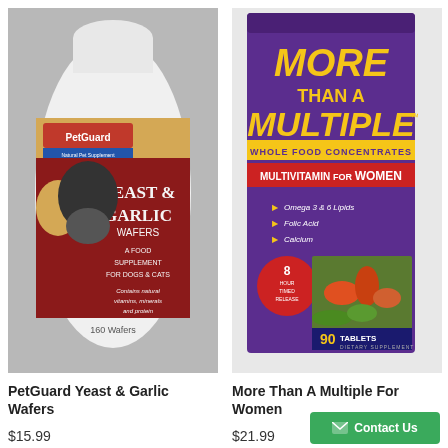[Figure (photo): PetGuard Yeast & Garlic Wafers supplement bottle with a dog and cat on the label]
PetGuard Yeast & Garlic Wafers
$15.99
[Figure (photo): More Than A Multiple Multivitamin for Women supplement box, showing whole food concentrates, 90 tablets]
More Than A Multiple For Women
$21.99
Contact Us